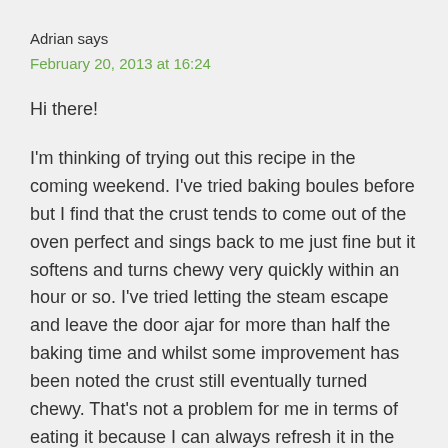Adrian says
February 20, 2013 at 16:24
Hi there!
I'm thinking of trying out this recipe in the coming weekend. I've tried baking boules before but I find that the crust tends to come out of the oven perfect and sings back to me just fine but it softens and turns chewy very quickly within an hour or so. I've tried letting the steam escape and leave the door ajar for more than half the baking time and whilst some improvement has been noted the crust still eventually turned chewy. That's not a problem for me in terms of eating it because I can always refresh it in the oven and it would turn perfectly crusty. I just